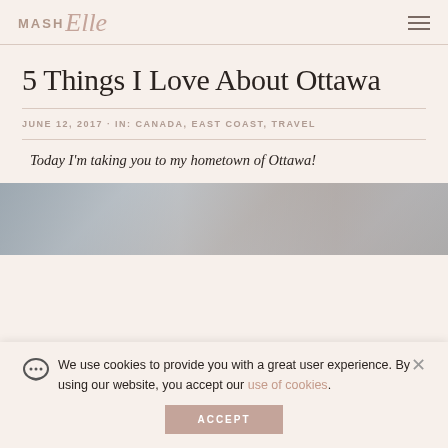MASH Elle
5 Things I Love About Ottawa
JUNE 12, 2017 · IN: CANADA, EAST COAST, TRAVEL
Today I'm taking you to my hometown of Ottawa!
[Figure (photo): Street scene photo, partially visible, blurred background with buildings and decorations]
We use cookies to provide you with a great user experience. By using our website, you accept our use of cookies.